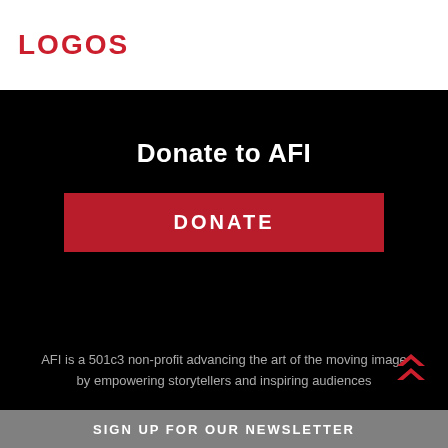[Figure (logo): LOGOS text label in red/crimson color on white background, top-left of page]
Donate to AFI
[Figure (other): Red DONATE button on black background]
AFI is a 501c3 non-profit advancing the art of the moving image by empowering storytellers and inspiring audiences
SIGN UP FOR OUR NEWSLETTER